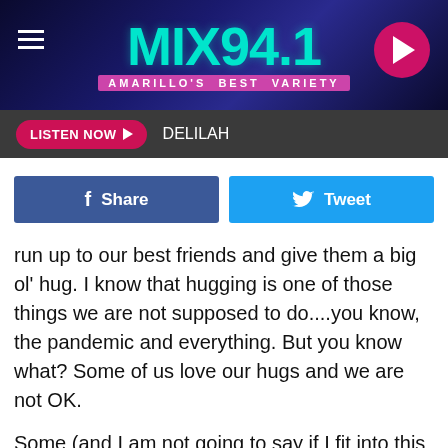[Figure (screenshot): MIX 94.1 radio station header banner with teal logo text, 'AMARILLO'S BEST VARIETY' tagline in pink, hamburger menu icon on left, circular play button on right against dark blue starfield background]
LISTEN NOW ▶  DELILAH
[Figure (screenshot): Facebook Share button (blue) and Twitter Tweet button (cyan) side by side]
run up to our best friends and give them a big ol' hug. I know that hugging is one of those things we are not supposed to do....you know, the pandemic and everything. But you know what? Some of us love our hugs and we are not OK.
Some (and I am not going to say if I fit into this category) of us can't help but still hug their friends. It's a hard habit to get out of. For some people, those hugs are much needed. Maybe we can encourage finding ways to better cope with not having that source of comfort. How can we feel better when we are already missing out on the emotional and